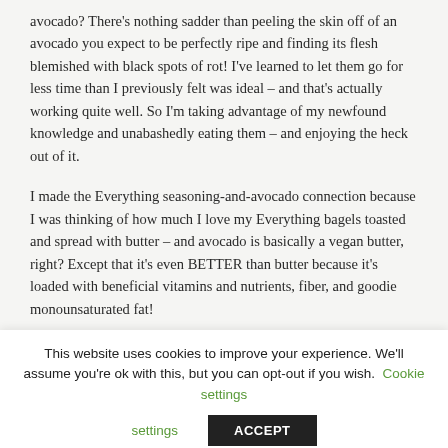avocado? There's nothing sadder than peeling the skin off of an avocado you expect to be perfectly ripe and finding its flesh blemished with black spots of rot! I've learned to let them go for less time than I previously felt was ideal – and that's actually working quite well. So I'm taking advantage of my newfound knowledge and unabashedly eating them – and enjoying the heck out of it.
I made the Everything seasoning-and-avocado connection because I was thinking of how much I love my Everything bagels toasted and spread with butter – and avocado is basically a vegan butter, right? Except that it's even BETTER than butter because it's loaded with beneficial vitamins and nutrients, fiber, and goodie monounsaturated fat!
[Figure (photo): Partial photo of food item on a wooden/tan surface with blue ceramic dish visible]
This website uses cookies to improve your experience. We'll assume you're ok with this, but you can opt-out if you wish. Cookie settings ACCEPT